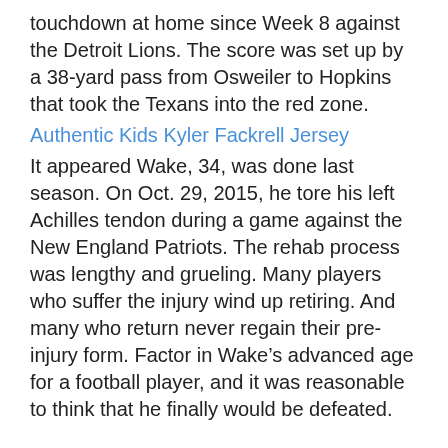touchdown at home since Week 8 against the Detroit Lions. The score was set up by a 38-yard pass from Osweiler to Hopkins that took the Texans into the red zone.
Authentic Kids Kyler Fackrell Jersey
It appeared Wake, 34, was done last season. On Oct. 29, 2015, he tore his left Achilles tendon during a game against the New England Patriots. The rehab process was lengthy and grueling. Many players who suffer the injury wind up retiring. And many who return never regain their pre-injury form. Factor in Wake’s advanced age for a football player, and it was reasonable to think that he finally would be defeated.
5 Reasons to get excited about the Oakland A¢¯s in 2017